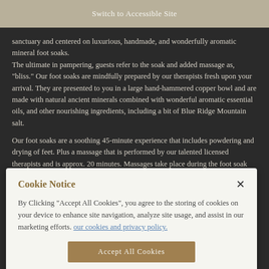Switch to Accessible Site
sanctuary and centered on luxurious, handmade, and wonderfully aromatic mineral foot soaks.
The ultimate in pampering, guests refer to the soak and added massage as, "bliss." Our foot soaks are mindfully prepared by our therapists fresh upon your arrival. They are presented to you in a large hand-hammered copper bowl and are made with natural ancient minerals combined with wonderful aromatic essential oils, and other nourishing ingredients, including a bit of Blue Ridge Mountain salt.
Our foot soaks are a soothing 45-minute experience that includes powdering and drying of feet. Plus a massage that is performed by our talented licensed therapists and is approx. 20 minutes. Massages take place during the foot soak service and do not extend the service of the soak time.
Cookie Notice
By Clicking "Accept All Cookies", you agree to the storing of cookies on your device to enhance site navigation, analyze site usage, and assist in our marketing efforts. our cookies and privacy policy.
Accept All Cookies